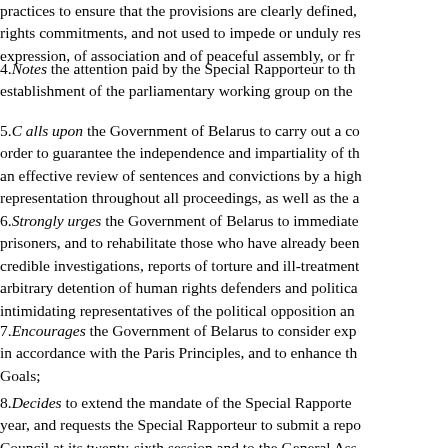practices to ensure that the provisions are clearly defined, rights commitments, and not used to impede or unduly res expression, of association and of peaceful assembly, or fr
4.Notes the attention paid by the Special Rapporteur to th establishment of the parliamentary working group on the
5.C alls upon the Government of Belarus to carry out a co order to guarantee the independence and impartiality of th an effective review of sentences and convictions by a high representation throughout all proceedings, as well as the a
6.Strongly urges the Government of Belarus to immediate prisoners, and to rehabilitate those who have already been credible investigations, reports of torture and ill-treatment arbitrary detention of human rights defenders and politica intimidating representatives of the political opposition an
7.Encourages the Government of Belarus to consider exp in accordance with the Paris Principles, and to enhance th Goals;
8.Decides to extend the mandate of the Special Rapporte year, and requests the Special Rapporteur to submit a repo Council at its twenty-sixth session and to the General Ass